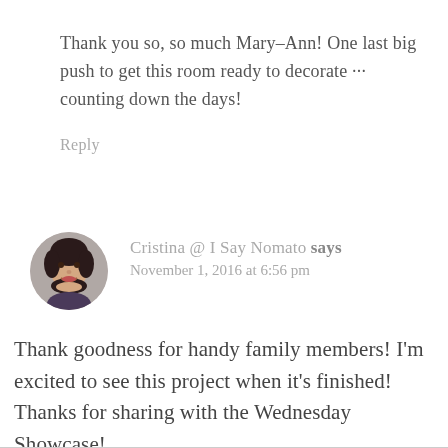Thank you so, so much Mary–Ann! One last big push to get this room ready to decorate ··· counting down the days!
Reply
Cristina @ I Say Nomato says
November 1, 2016 at 6:56 pm
Thank goodness for handy family members! I'm excited to see this project when it's finished! Thanks for sharing with the Wednesday Showcase!